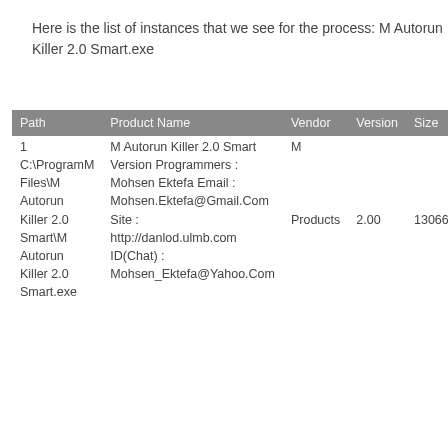Here is the list of instances that we see for the process: M Autorun Killer 2.0 Smart.exe
| Path | Product Name | Vendor | Version | Size |
| --- | --- | --- | --- | --- |
| C:\ProgramM Autorun Killer 2.0 Smart
Files\M Autorun
Killer 2.0
Smart\M Autorun
Killer 2.0
Smart.exe | M Autorun Killer 2.0 Smart Version Programmers : Mohsen Ektefa Email : Mohsen.Ektefa@Gmail.Com Site : http://danlod.ulmb.com ID(Chat) : Mohsen_Ektefa@Yahoo.Com | M Products | 2.00 | 130662 |